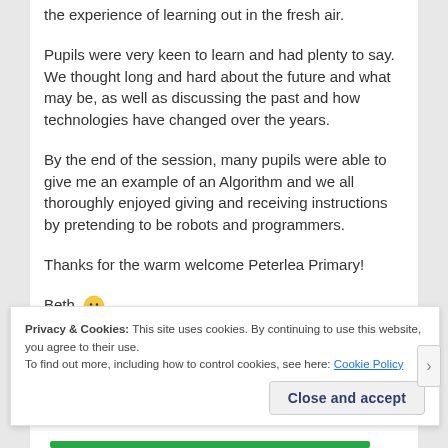the experience of learning out in the fresh air.
Pupils were very keen to learn and had plenty to say. We thought long and hard about the future and what may be, as well as discussing the past and how technologies have changed over the years.
By the end of the session, many pupils were able to give me an example of an Algorithm and we all thoroughly enjoyed giving and receiving instructions by pretending to be robots and programmers.
Thanks for the warm welcome Peterlea Primary!
Beth 🙂
Privacy & Cookies: This site uses cookies. By continuing to use this website, you agree to their use. To find out more, including how to control cookies, see here: Cookie Policy
Close and accept